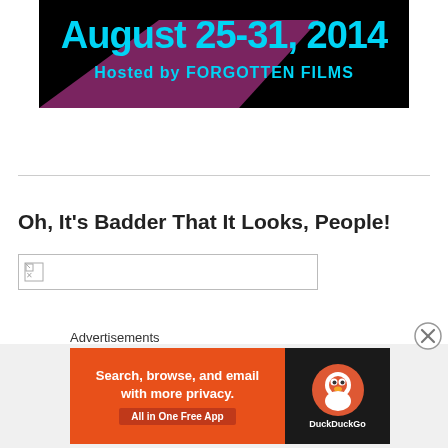[Figure (illustration): Event banner: 'August 25-31, 2014' in cyan text on black background with purple geometric shape, 'Hosted by FORGOTTEN FILMS' below]
Oh, It's Badder That It Looks, People!
[Figure (photo): Broken/missing image placeholder box]
Advertisements
[Figure (screenshot): DuckDuckGo advertisement: 'Search, browse, and email with more privacy. All in One Free App' on orange background with DuckDuckGo logo on dark background]